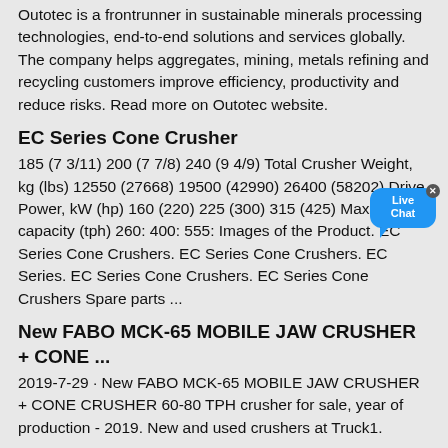Outotec is a frontrunner in sustainable minerals processing technologies, end-to-end solutions and services globally. The company helps aggregates, mining, metals refining and recycling customers improve efficiency, productivity and reduce risks. Read more on Outotec website.
EC Series Cone Crusher
185 (7 3/11) 200 (7 7/8) 240 (9 4/9) Total Crusher Weight, kg (lbs) 12550 (27668) 19500 (42990) 26400 (58202) Drive Power, kW (hp) 160 (220) 225 (300) 315 (425) Maximum capacity (tph) 260: 400: 555: Images of the Product. EC Series Cone Crushers. EC Series Cone Crushers. EC Series. EC Series Cone Crushers. EC Series Cone Crushers Spare parts ...
New FABO MCK-65 MOBILE JAW CRUSHER + CONE ...
2019-7-29 · New FABO MCK-65 MOBILE JAW CRUSHER + CONE CRUSHER 60-80 TPH crusher for sale, year of production - 2019. New and used crushers at Truck1.
Google Tradutor
O serviço gratuito do Google traduz instantaneamente palavras, frases e páginas da Web entre o inglês e mais de 100 outros idiomas.
Aggregate Equipment For Sale